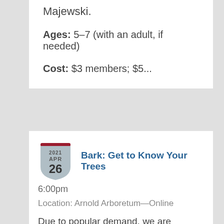Majewski.
Ages: 5–7 (with an adult, if needed)
Cost: $3 members; $5...
Bark: Get to Know Your Trees
6:00pm
Location: Arnold Arboretum—Online
Due to popular demand, we are offering another session of this free webinar. Led by naturalist and